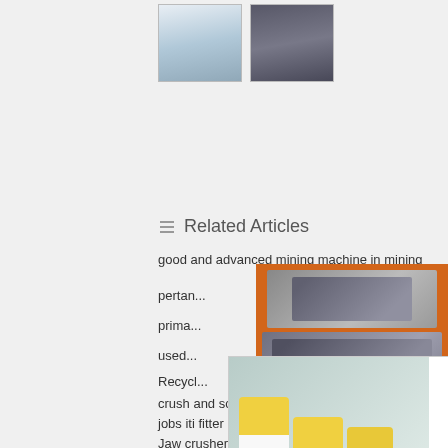[Figure (photo): Two small thumbnail images of mining/industrial equipment]
Related Articles
good and advanced mining machine in mining
pertam...
prima...
used...
Recycl...
crush and screening plants prices
jobs iti fitter in acc cement
Jaw crusher mining machine
vertical shaft impact crusher vsi vertical sand machine
ball mill for sale clay
iron ore mobile portable crusher magnetic separator
[Figure (photo): Live chat popup overlay with workers in hard hats, LIVE CHAT heading, Click for a Free Consultation text, Chat now and Chat later buttons]
[Figure (infographic): Orange sidebar advertisement showing mining machines, Enjoy 3% discount, Click to Chat, Enquiry, limingjlmofen@sina.com]